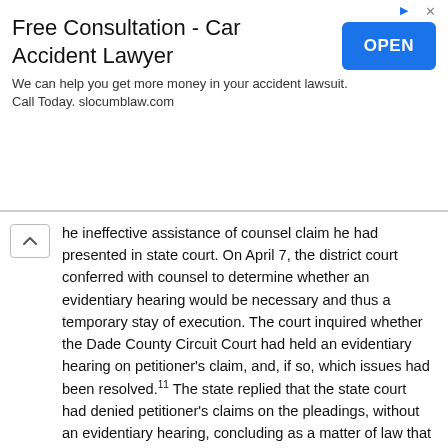[Figure (other): Advertisement banner: 'Free Consultation - Car Accident Lawyer' with an OPEN button. Text: We can help you get more money in your accident lawsuit. Call Today. slocumblaw.com]
he ineffective assistance of counsel claim he had presented in state court. On April 7, the district court conferred with counsel to determine whether an evidentiary hearing would be necessary and thus a temporary stay of execution. The court inquired whether the Dade County Circuit Court had held an evidentiary hearing on petitioner's claim, and, if so, which issues had been resolved.11 The state replied that the state court had denied petitioner's claims on the pleadings, without an evidentiary hearing, concluding as a matter of law that petitioner had failed to allege a sixth, and fourteenth, amendment violation. Petitioner's counsel insisted that the court had to hold an evidentiary hearing to dispose of each element of petitioner's claim. The state noted that petitioner's habeas petition, including his allegation of prejudice, merely replicated the Fla.R.Crim.P. 3.850 motion, which the state court had denied on the pleadings. It urged the court therefore to dismiss the petition without a further hearing, for failure to state a claim on which relief could be granted. The district court concluded this conference with counsel